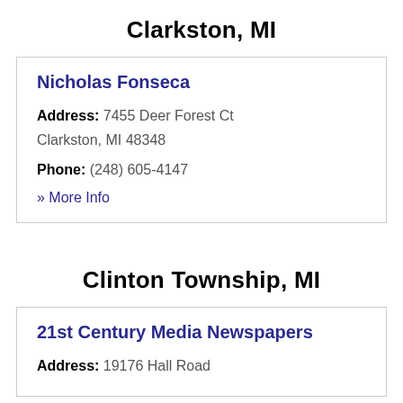Clarkston, MI
Nicholas Fonseca
Address: 7455 Deer Forest Ct Clarkston, MI 48348
Phone: (248) 605-4147
» More Info
Clinton Township, MI
21st Century Media Newspapers
Address: 19176 Hall Road